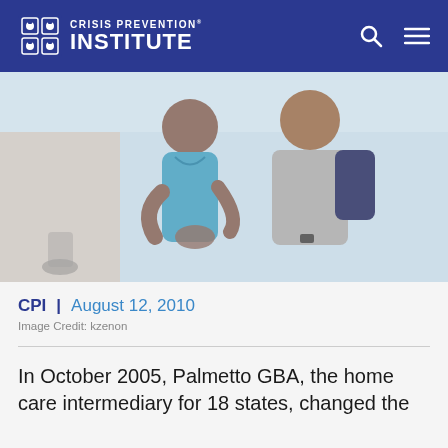CRISIS PREVENTION INSTITUTE
[Figure (photo): A healthcare worker in blue scrubs assisting an elderly patient walking, holding the patient's hands/wrists to support them. A wheelchair is partially visible in the background.]
CPI | August 12, 2010
Image Credit: kzenon
In October 2005, Palmetto GBA, the home care intermediary for 18 states, changed the